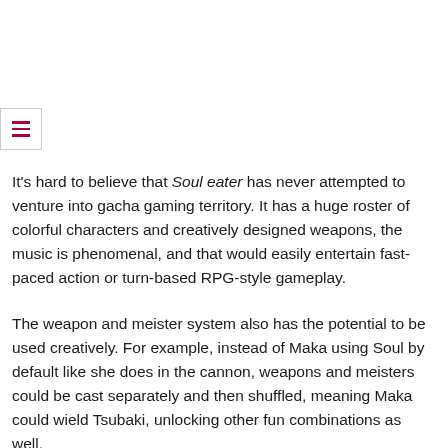[Figure (other): Hamburger menu button icon with three horizontal dark red/maroon lines, inside a light gray bordered box]
It's hard to believe that Soul eater has never attempted to venture into gacha gaming territory. It has a huge roster of colorful characters and creatively designed weapons, the music is phenomenal, and that would easily entertain fast-paced action or turn-based RPG-style gameplay.
The weapon and meister system also has the potential to be used creatively. For example, instead of Maka using Soul by default like she does in the cannon, weapons and meisters could be cast separately and then shuffled, meaning Maka could wield Tsubaki, unlocking other fun combinations as well.